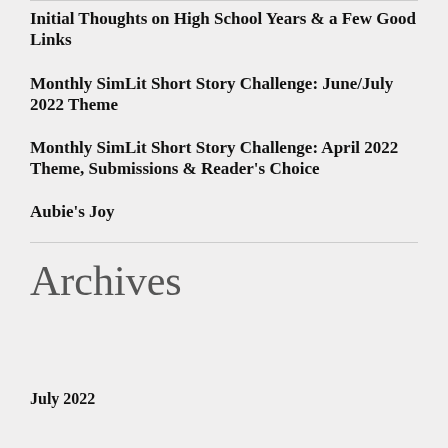Initial Thoughts on High School Years & a Few Good Links
Monthly SimLit Short Story Challenge: June/July 2022 Theme
Monthly SimLit Short Story Challenge: April 2022 Theme, Submissions & Reader's Choice
Aubie's Joy
Archives
July 2022